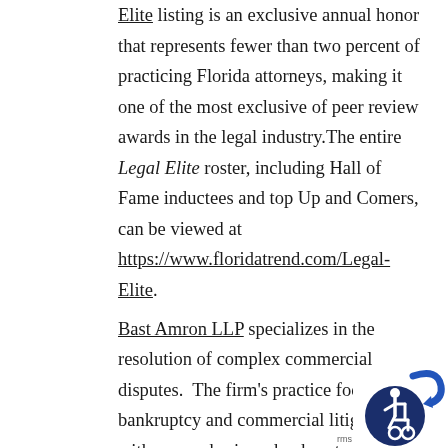Elite listing is an exclusive annual honor that represents fewer than two percent of practicing Florida attorneys, making it one of the most exclusive of peer review awards in the legal industry.The entire Legal Elite roster, including Hall of Fame inductees and top Up and Comers, can be viewed at https://www.floridatrend.com/Legal-Elite.
Bast Amron LLP specializes in the resolution of complex commercial disputes. The firm's practice focuses on bankruptcy and commercial litigation with an emphasis on bankruptcy avoidance, corporate reorganization and complex litigation, representing debtors, creditors, trustees and other fiduciaries.
[Figure (illustration): Accessibility icon — blue circle with wheelchair user symbol and blue arrow swoosh, with partial 'rms' text visible]